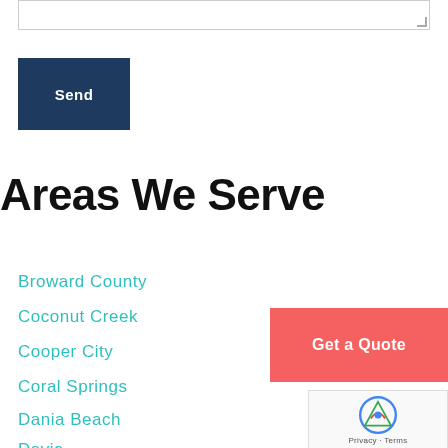[Figure (screenshot): Text area input box with resize handle at bottom right]
Send
Areas We Serve
Broward County
Coconut Creek
Cooper City
Coral Springs
Dania Beach
Davie
Get a Quote
[Figure (screenshot): reCAPTCHA widget with logo and Privacy - Terms text]